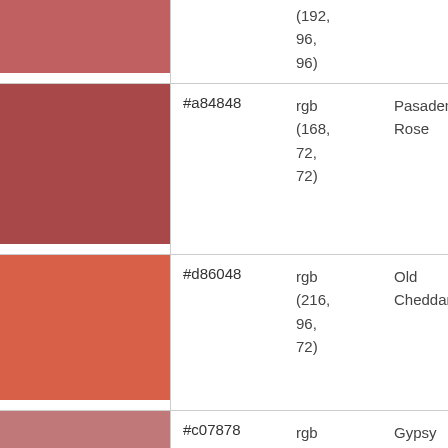| Color Swatch | Hex | RGB | Name |
| --- | --- | --- | --- |
| (color: #c06060) |  | (192,
96,
96) |  |
| (color: #a84848) | #a84848 | rgb
(168,
72,
72) | Pasadena Rose |
| (color: #d86048) | #d86048 | rgb
(216,
96,
72) | Old Cheddar |
| (color: #c07878) | #c07878 | rgb | Gypsy |